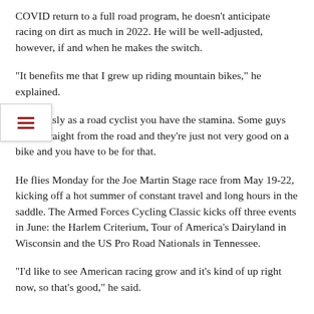COVID return to a full road program, he doesn't anticipate racing on dirt as much in 2022. He will be well-adjusted, however, if and when he makes the switch.
“It benefits me that I grew up riding mountain bikes,” he explained.
“Obviously as a road cyclist you have the stamina. Some guys come straight from the road and they're just not very good on a bike and you have to be for that.
He flies Monday for the Joe Martin Stage race from May 19-22, kicking off a hot summer of constant travel and long hours in the saddle. The Armed Forces Cycling Classic kicks off three events in June: the Harlem Criterium, Tour of America's Dairyland in Wisconsin and the US Pro Road Nationals in Tennessee.
“I'd like to see American racing grow and it's kind of up right now, so that's good,” he said.